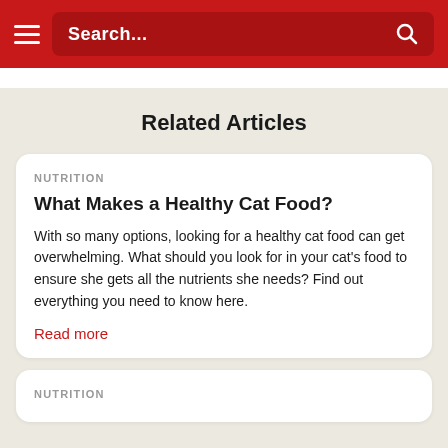Search...
Related Articles
NUTRITION
What Makes a Healthy Cat Food?
With so many options, looking for a healthy cat food can get overwhelming. What should you look for in your cat's food to ensure she gets all the nutrients she needs? Find out everything you need to know here.
Read more
NUTRITION